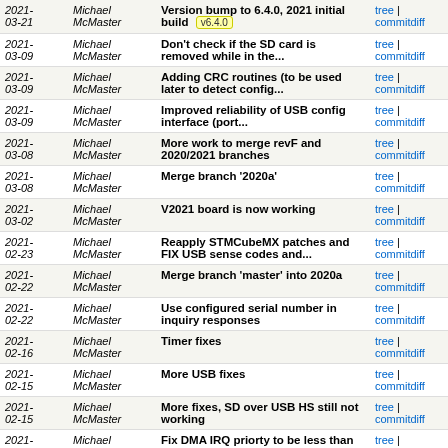| Date | Author | Message | Links |
| --- | --- | --- | --- |
| 2021-03-21 | Michael McMaster | Version bump to 6.4.0, 2021 initial build [v6.4.0] | tree | commitdiff |
| 2021-03-09 | Michael McMaster | Don't check if the SD card is removed while in the... | tree | commitdiff |
| 2021-03-09 | Michael McMaster | Adding CRC routines (to be used later to detect config... | tree | commitdiff |
| 2021-03-09 | Michael McMaster | Improved reliability of USB config interface (port... | tree | commitdiff |
| 2021-03-08 | Michael McMaster | More work to merge revF and 2020/2021 branches | tree | commitdiff |
| 2021-03-08 | Michael McMaster | Merge branch '2020a' | tree | commitdiff |
| 2021-03-02 | Michael McMaster | V2021 board is now working | tree | commitdiff |
| 2021-02-23 | Michael McMaster | Reapply STMCubeMX patches and FIX USB sense codes and... | tree | commitdiff |
| 2021-02-22 | Michael McMaster | Merge branch 'master' into 2020a | tree | commitdiff |
| 2021-02-22 | Michael McMaster | Use configured serial number in inquiry responses | tree | commitdiff |
| 2021-02-16 | Michael McMaster | Timer fixes | tree | commitdiff |
| 2021-02-15 | Michael McMaster | More USB fixes | tree | commitdiff |
| 2021-02-15 | Michael McMaster | More fixes, SD over USB HS still not working | tree | commitdiff |
| 2021- | Michael | Fix DMA IRQ priorty to be less than | tree | |